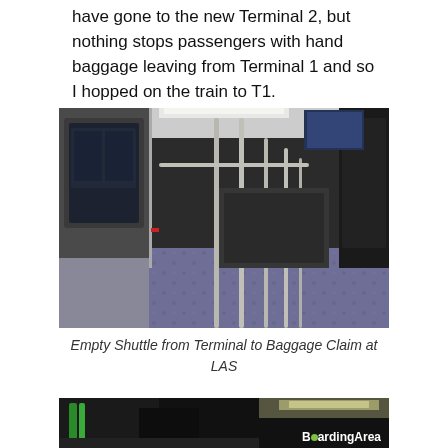have gone to the new Terminal 2, but nothing stops passengers with hand baggage leaving from Terminal 1 and so I hopped on the train to T1.
[Figure (photo): Interior of an empty airport shuttle train showing metal poles, seats, and patterned floor carpet, with doors visible on the left side.]
Empty Shuttle from Terminal to Baggage Claim at LAS
[Figure (photo): Dark underground tunnel or corridor with green pipes and overhead lighting, with BoardingArea watermark in bottom right corner.]